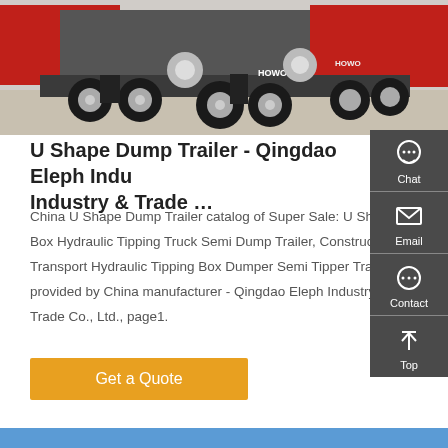[Figure (photo): Rear view of red HOWO dump trucks / semi-trucks parked in a lot]
U Shape Dump Trailer - Qingdao Eleph Industry & Trade …
China U Shape Dump Trailer catalog of Super Sale: U Shape Box Hydraulic Tipping Truck Semi Dump Trailer, Construction Transport Hydraulic Tipping Box Dumper Semi Tipper Trailer provided by China manufacturer - Qingdao Eleph Industry & Trade Co., Ltd., page1.
Get a Quote
[Figure (infographic): Side panel with Chat, Email, Contact, Top navigation buttons on dark grey background]